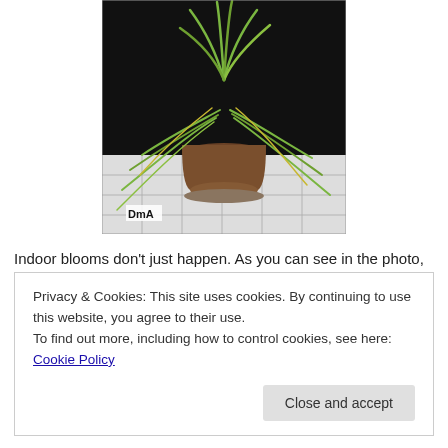[Figure (photo): A potted plant with long green drooping leaves resembling a spider plant or narcissus, sitting on a tiled surface against a dark background. A watermark reading 'DmA' is visible in the lower left corner of the photo.]
Indoor blooms don't just happen. As you can see in the photo, my Narcissus
Privacy & Cookies: This site uses cookies. By continuing to use this website, you agree to their use.
To find out more, including how to control cookies, see here: Cookie Policy